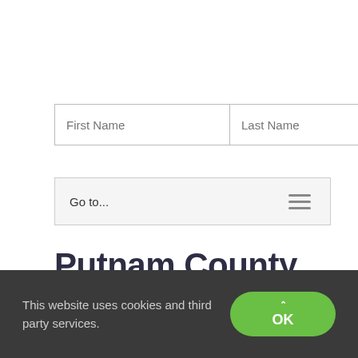[Figure (screenshot): Search form with First Name and Last Name text input fields and a Search Now! button]
[Figure (screenshot): Navigation bar with 'Go to...' text and hamburger menu icon]
Putnam County, New York Records
This website uses cookies and third party services.